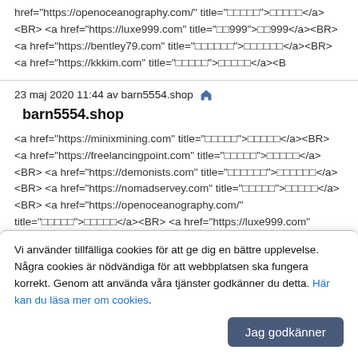href="https://openoceanography.com/" title="□□□□□">□□□□□</a><BR> <a href="https://luxe999.com" title="□□999">□□999</a><BR> <a href="https://bentley79.com" title="□□□□□□">□□□□□□</a><BR> <a href="https://kkkim.com" title="□□□□□">□□□□□</a><B
23 maj 2020 11:44 av barn5554.shop
barn5554.shop
<a href="https://minixmining.com" title="□□□□□">□□□□□</a><BR> <a href="https://freelancingpoint.com" title="□□□□□">□□□□□</a><BR> <a href="https://demonists.com" title="□□□□□□">□□□□□□</a><BR> <a href="https://nomadservey.com" title="□□□□□">□□□□□</a><BR> <a href="https://openoceanography.com/" title="□□□□□">□□□□□</a><BR> <a href="https://luxe999.com" title="□□999">□□999</a><BR> <a href="https://bentley79.com" title="□□□□□□">□□□□□□</a><BR> <a
Vi använder tillfälliga cookies för att ge dig en bättre upplevelse. Några cookies är nödvändiga för att webbplatsen ska fungera korrekt. Genom att använda våra tjänster godkänner du detta. Här kan du läsa mer om cookies.